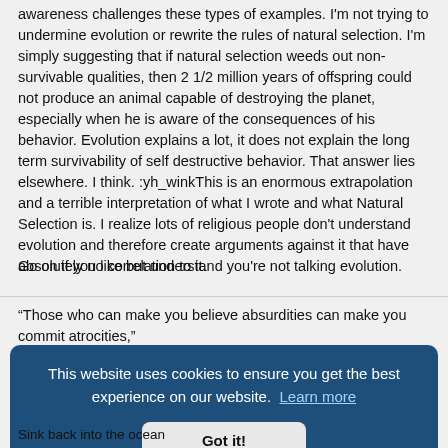awareness challenges these types of examples. I'm not trying to undermine evolution or rewrite the rules of natural selection. I'm simply suggesting that if natural selection weeds out non-survivable qualities, then 2 1/2 million years of offspring could not produce an animal capable of destroying the planet, especially when he is aware of the consequences of his behavior. Evolution explains a lot, it does not explain the long term survivability of self destructive behavior. That answer lies elsewhere. I think. :yh_winkThis is an enormous extrapolation and a terrible interpretation of what I wrote and what Natural Selection is. I realize lots of religious people don't understand evolution and therefore create arguments against it that have absolutely no correlation to it.
Go on if you like but understand you're not talking evolution.
"Those who can make you believe absurdities can make you commit atrocities,"
[Figure (screenshot): Cookie consent banner with dark blue background. Text reads: 'This website uses cookies to ensure you get the best experience on our website. Learn more' with a 'Got it!' button below.]
Sink back into the ocean